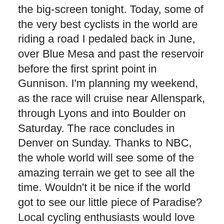the big-screen tonight. Today, some of the very best cyclists in the world are riding a road I pedaled back in June, over Blue Mesa and past the reservoir before the first sprint point in Gunnison. I'm planning my weekend, as the race will cruise near Allenspark, through Lyons and into Boulder on Saturday. The race concludes in Denver on Sunday. Thanks to NBC, the whole world will see some of the amazing terrain we get to see all the time. Wouldn't it be nice if the world got to see our little piece of Paradise? Local cycling enthusiasts would love to lure the race through Estes Park for 2013, I among them. I realize that our little town probably doesn't have the money to host a start or a finish, but wouldn't it be nice just to have some of the fittest athletes on earth come cruising through, bringing fans and fan dollars with them?